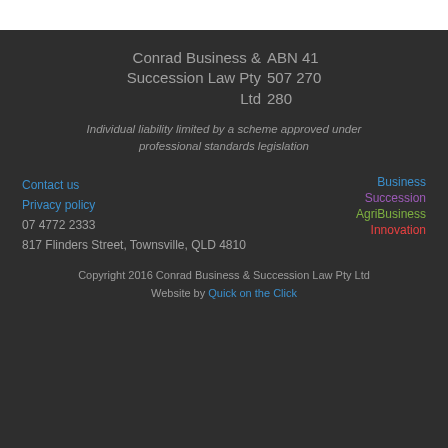Conrad Business & Succession Law Pty Ltd  ABN 41 507 270 280
Individual liability limited by a scheme approved under professional standards legislation
Contact us
Privacy policy
07 4772 2333
817 Flinders Street, Townsville, QLD 4810
Business
Succession
AgriBusiness
Innovation
Copyright 2016 Conrad Business & Succession Law Pty Ltd  Website by Quick on the Click